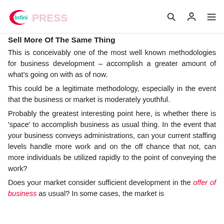Infini PRESS
Sell More Of The Same Thing
This is conceivably one of the most well known methodologies for business development – accomplish a greater amount of what's going on with as of now.
This could be a legitimate methodology, especially in the event that the business or market is moderately youthful.
Probably the greatest interesting point here, is whether there is 'space' to accomplish business as usual thing. In the event that your business conveys administrations, can your current staffing levels handle more work and on the off chance that not, can more individuals be utilized rapidly to the point of conveying the work?
Does your market consider sufficient development in the offer of business as usual? In some cases, the market is